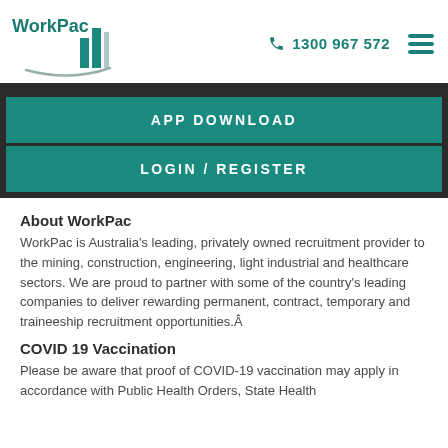WorkPac | 1300 967 572
APP DOWNLOAD
LOGIN / REGISTER
About WorkPac
WorkPac is Australia's leading, privately owned recruitment provider to the mining, construction, engineering, light industrial and healthcare sectors. We are proud to partner with some of the country's leading companies to deliver rewarding permanent, contract, temporary and traineeship recruitment opportunities.Â
COVID 19 Vaccination
Please be aware that proof of COVID-19 vaccination may apply in accordance with Public Health Orders, State Health